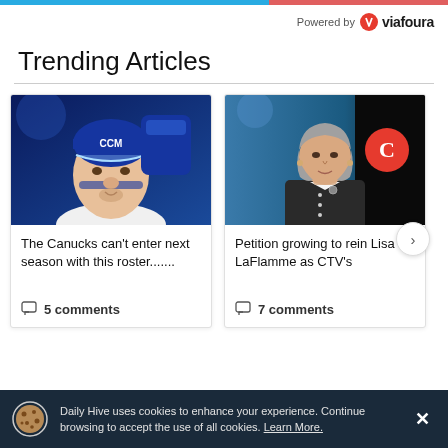Powered by viafoura
Trending Articles
[Figure (photo): Hockey player in blue CCM helmet and blue gloves close-up photo]
The Canucks can't enter next season with this roster.......
5 comments
[Figure (photo): Woman with grey hair in dark blazer at news desk with CTV logo]
Petition growing to rein Lisa LaFlamme as CTV's
7 comments
Daily Hive uses cookies to enhance your experience. Continue browsing to accept the use of all cookies. Learn More.